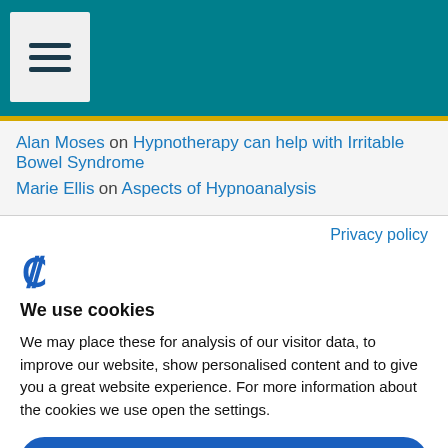Navigation menu header with teal background
Alan Moses on Hypnotherapy can help with Irritable Bowel Syndrome
Marie Ellis on Aspects of Hypnoanalysis
Privacy policy
[Figure (logo): Cookie consent logo icon - stylized C with checkmark]
We use cookies
We may place these for analysis of our visitor data, to improve our website, show personalised content and to give you a great website experience. For more information about the cookies we use open the settings.
Accept all
Deny
No, adjust